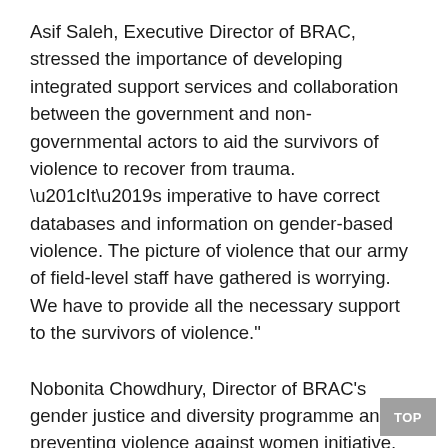Asif Saleh, Executive Director of BRAC, stressed the importance of developing integrated support services and collaboration between the government and non-governmental actors to aid the survivors of violence to recover from trauma. “It’s imperative to have correct databases and information on gender-based violence. The picture of violence that our army of field-level staff have gathered is worrying. We have to provide all the necessary support to the survivors of violence.”
Nobonita Chowdhury, Director of BRAC’s gender justice and diversity programme and preventing violence against women initiative, said “Through the AR NA pilot project, BRAC trained over 800 frontline workers in northern Bangladesh, to digitally report incidents of violence against women and girls through